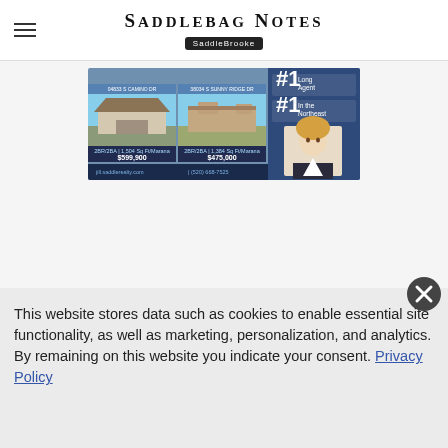SADDLEBAG NOTES — SaddleBrooke
[Figure (photo): Real estate advertisement banner showing two house photos, agent rankings (#1 Long Agent, #1 in the Northeast), and a female agent headshot photo. Prices listed: $599,900 and $475,000.]
This website stores data such as cookies to enable essential site functionality, as well as marketing, personalization, and analytics. By remaining on this website you indicate your consent. Privacy Policy